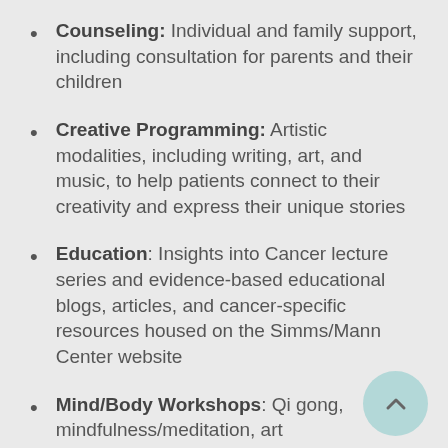Counseling: Individual and family support, including consultation for parents and their children
Creative Programming: Artistic modalities, including writing, art, and music, to help patients connect to their creativity and express their unique stories
Education: Insights into Cancer lecture series and evidence-based educational blogs, articles, and cancer-specific resources housed on the Simms/Mann Center website
Mind/Body Workshops: Qi gong, mindfulness/meditation, art